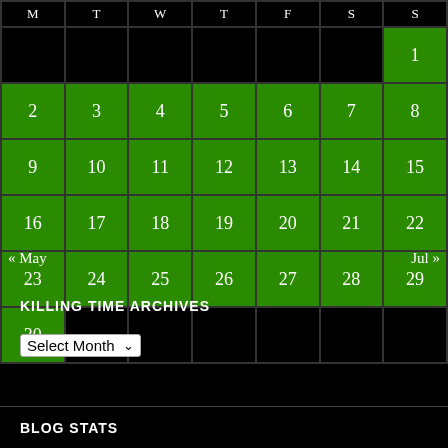| M | T | W | T | F | S | S |
| --- | --- | --- | --- | --- | --- | --- |
|  |  |  |  |  |  | 1 |
| 2 | 3 | 4 | 5 | 6 | 7 | 8 |
| 9 | 10 | 11 | 12 | 13 | 14 | 15 |
| 16 | 17 | 18 | 19 | 20 | 21 | 22 |
| 23 | 24 | 25 | 26 | 27 | 28 | 29 |
| 30 |  |  |  |  |  |  |
« May    Jul »
KILLING TIME ARCHIVES
Select Month
BLOG STATS